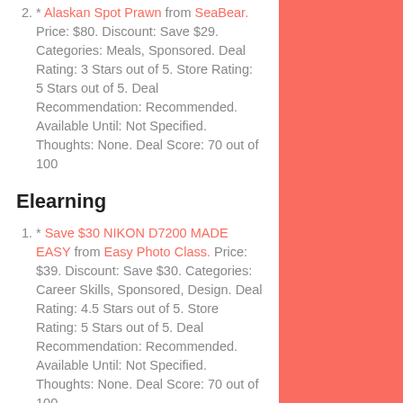* Alaskan Spot Prawn from SeaBear. Price: $80. Discount: Save $29. Categories: Meals, Sponsored. Deal Rating: 3 Stars out of 5. Store Rating: 5 Stars out of 5. Deal Recommendation: Recommended. Available Until: Not Specified. Thoughts: None. Deal Score: 70 out of 100
Elearning
* Save $30 NIKON D7200 MADE EASY from Easy Photo Class. Price: $39. Discount: Save $30. Categories: Career Skills, Sponsored, Design. Deal Rating: 4.5 Stars out of 5. Store Rating: 5 Stars out of 5. Deal Recommendation: Recommended. Available Until: Not Specified. Thoughts: None. Deal Score: 70 out of 100